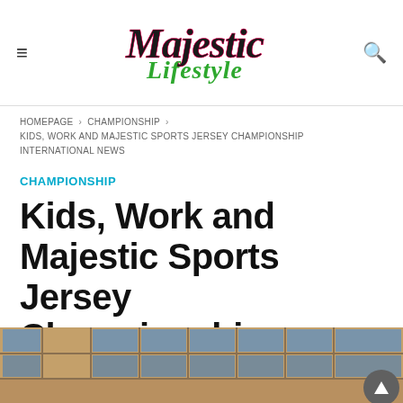Majestic Lifestyle
HOMEPAGE > CHAMPIONSHIP > KIDS, WORK AND MAJESTIC SPORTS JERSEY CHAMPIONSHIP INTERNATIONAL NEWS
CHAMPIONSHIP
Kids, Work and Majestic Sports Jersey Championship International News
[Figure (photo): Bottom portion of an indoor photo showing windows with blue panes and wooden/stone framing, partially cropped]